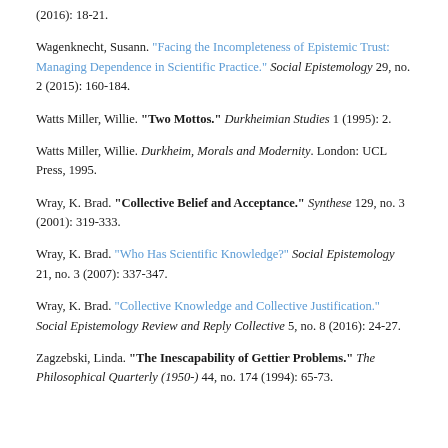(2016): 18-21.
Wagenknecht, Susann. "Facing the Incompleteness of Epistemic Trust: Managing Dependence in Scientific Practice." Social Epistemology 29, no. 2 (2015): 160-184.
Watts Miller, Willie. "Two Mottos." Durkheimian Studies 1 (1995): 2.
Watts Miller, Willie. Durkheim, Morals and Modernity. London: UCL Press, 1995.
Wray, K. Brad. "Collective Belief and Acceptance." Synthese 129, no. 3 (2001): 319-333.
Wray, K. Brad. "Who Has Scientific Knowledge?" Social Epistemology 21, no. 3 (2007): 337-347.
Wray, K. Brad. "Collective Knowledge and Collective Justification." Social Epistemology Review and Reply Collective 5, no. 8 (2016): 24-27.
Zagzebski, Linda. "The Inescapability of Gettier Problems." The Philosophical Quarterly (1950-) 44, no. 174 (1994): 65-73.